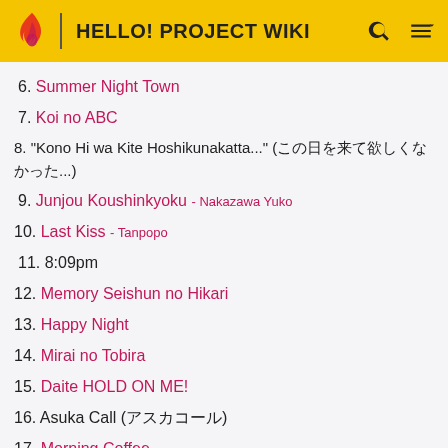HELLO! PROJECT WIKI
6. Summer Night Town
7. Koi no ABC
8. "Kono Hi wa Kite Hoshikunakatta..." (この日を来て欲しくなかった...)
9. Junjou Koushinkyoku - Nakazawa Yuko
10. Last Kiss - Tanpopo
11. 8:09pm
12. Memory Seishun no Hikari
13. Happy Night
14. Mirai no Tobira
15. Daite HOLD ON ME!
16. Asuka Call (アスカコール)
17. Morning Coffee
18. Never Forget - Fukuda Asuka
19. Samishii Hi